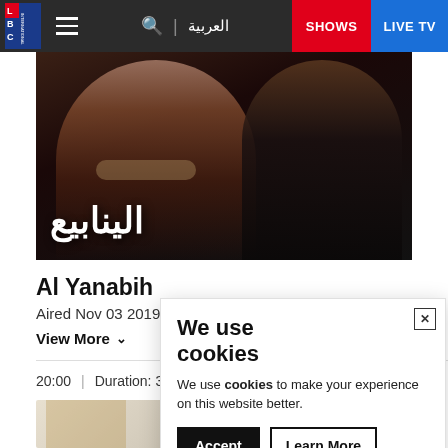LBC International | العربية | SHOWS | LIVE TV
[Figure (photo): Al Yanabih TV show hero image with Arabic title الينابيع and two people, a woman in an elegant dress and a man in black, against a dark background]
Al Yanabih
Aired Nov 03 2019
View More ▾
20:00  |  Duration: 30 min
[Figure (photo): Thumbnail image for Al Yanabih episode, showing partial view of two people and Arabic calligraphy]
We use cookies
We use cookies to make your experience on this website better.
Accept
Learn More